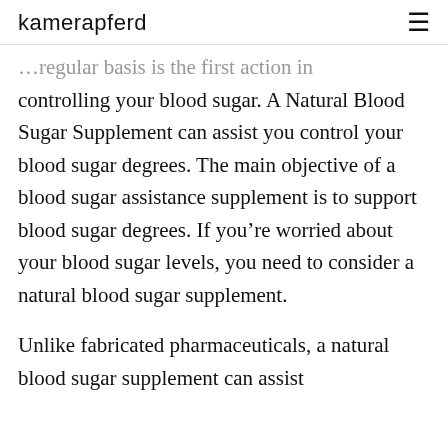kamerapferd
regular basis is the first action in controlling your blood sugar. A Natural Blood Sugar Supplement can assist you control your blood sugar degrees. The main objective of a blood sugar assistance supplement is to support blood sugar degrees. If you’re worried about your blood sugar levels, you need to consider a natural blood sugar supplement.
Unlike fabricated pharmaceuticals, a natural blood sugar supplement can assist